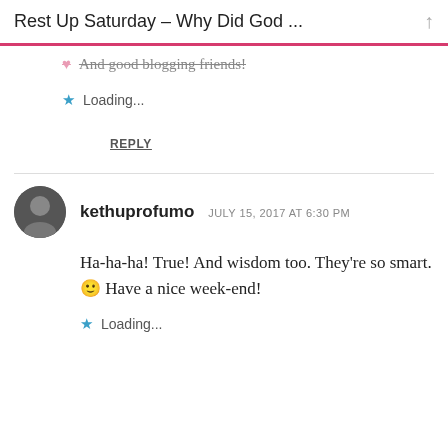Rest Up Saturday – Why Did God ... ↑
❤ And good blogging friends!
Loading...
REPLY
kethuprofumo  JULY 15, 2017 AT 6:30 PM
Ha-ha-ha! True! And wisdom too. They're so smart. 🙂 Have a nice week-end!
Loading...